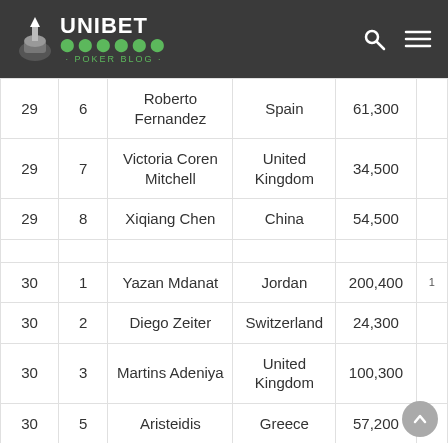Unibet Poker Blog
| Table | Seat | Name | Country | Chips |  |
| --- | --- | --- | --- | --- | --- |
| 29 | 6 | Roberto Fernandez | Spain | 61,300 |  |
| 29 | 7 | Victoria Coren Mitchell | United Kingdom | 34,500 |  |
| 29 | 8 | Xiqiang Chen | China | 54,500 |  |
| 30 | 1 | Yazan Mdanat | Jordan | 200,400 | 1 |
| 30 | 2 | Diego Zeiter | Switzerland | 24,300 |  |
| 30 | 3 | Martins Adeniya | United Kingdom | 100,300 |  |
| 30 | 5 | Aristeidis | Greece | 57,200 |  |